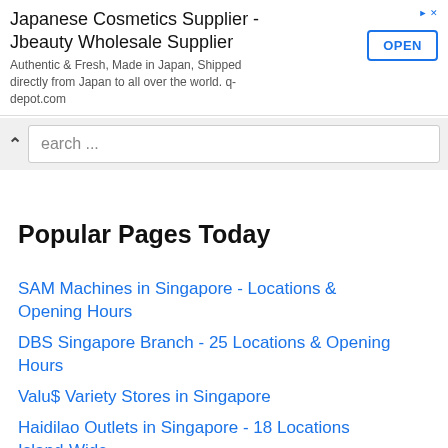[Figure (screenshot): Advertisement banner for Japanese Cosmetics Supplier - Jbeauty Wholesale Supplier with OPEN button]
earch ...
Popular Pages Today
SAM Machines in Singapore - Locations & Opening Hours
DBS Singapore Branch - 25 Locations & Opening Hours
Valu$ Variety Stores in Singapore
Haidilao Outlets in Singapore - 18 Locations Island-Wide